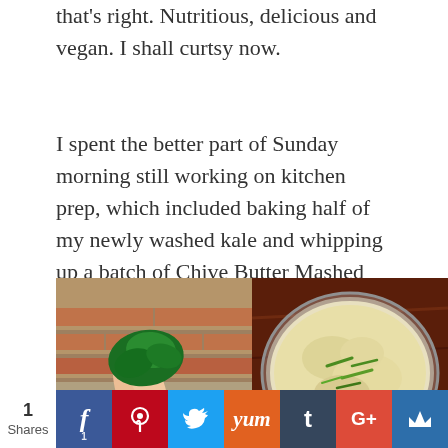that's right. Nutritious, delicious and vegan. I shall curtsy now.
I spent the better part of Sunday morning still working on kitchen prep, which included baking half of my newly washed kale and whipping up a batch of Chive Butter Mashed Potatoes. As a result, I sampled some of each; for quality control purposes, of course.
[Figure (photo): Two food photos side by side: left shows a hand holding a piece of kale chip in front of a brick wall; right shows a bowl of chive butter mashed potatoes viewed from above on a wooden surface.]
1 Shares | Facebook | Pinterest | Twitter | Yum | Tumblr | Google+ | Crown